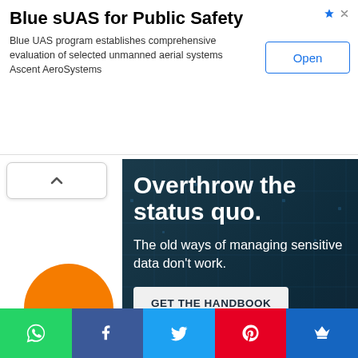Blue sUAS for Public Safety
Blue UAS program establishes comprehensive evaluation of selected unmanned aerial systems Ascent AeroSystems
[Figure (illustration): Open button with blue border and text]
[Figure (illustration): Dark blue advertisement with text: Overthrow the status quo. The old ways of managing sensitive data don't work. GET THE HANDBOOK button.]
[Figure (illustration): Social sharing bar with WhatsApp, Facebook, Twitter, Pinterest, and crown/bookmark icons in green, dark blue, light blue, red, and blue colors.]